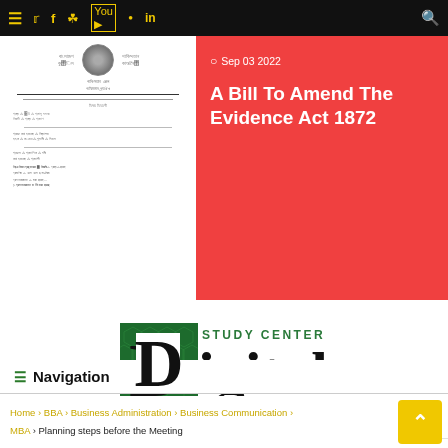Navigation bar with hamburger menu, social icons (Twitter, Facebook, Instagram, YouTube, Pinterest, LinkedIn), and search icon
[Figure (illustration): Scanned document preview showing Bengali/Urdu text header with a circular government seal and dense body text in a non-Latin script]
Sep 03 2022
A Bill To Amend The Evidence Act 1872
[Figure (logo): Digital Study Center logo — large dark green D with hexagonal pattern, 'STUDY CENTER' above in green, 'igital' in large black text beside it, subtitle 'An Exclusive e-Learning Blog']
Navigation
Home > BBA > Business Administration > Business Communication > MBA > Planning steps before the Meeting